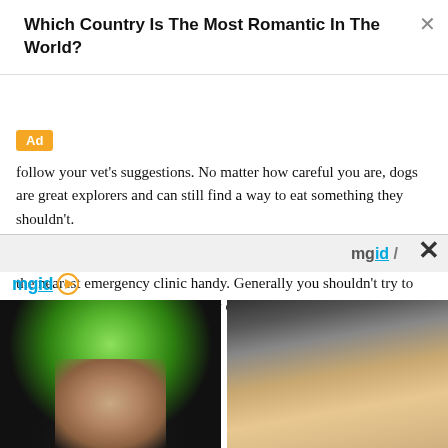Which Country Is The Most Romantic In The World?
Ad
follow your vet's suggestions. No matter how careful you are, dogs are great explorers and can still find a way to eat something they shouldn't.
It's a good idea to have the contact numbers of your veterinarian and the nearest emergency clinic handy. Generally you shouldn't try to self-medicate a dog but thankfully consuming some chicken soup isn't likely to cause much harm.
[Figure (screenshot): mgid content widget bar with logo and close button]
[Figure (photo): Person with green and black hair, close-up portrait]
[Figure (photo): Group of people with a dog, someone holding a camera]